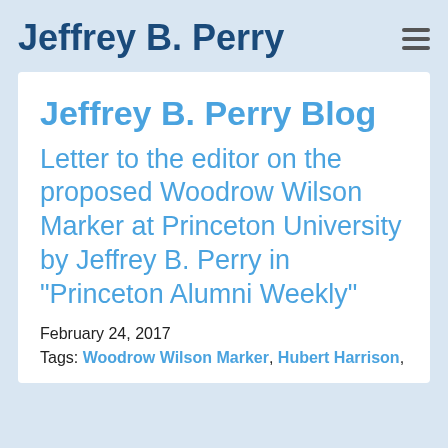Jeffrey B. Perry
Jeffrey B. Perry Blog
Letter to the editor on the proposed Woodrow Wilson Marker at Princeton University by Jeffrey B. Perry in "Princeton Alumni Weekly"
February 24, 2017
Tags: Woodrow Wilson Marker, Hubert Harrison,